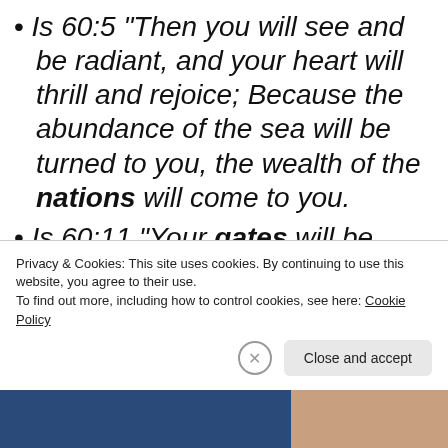Is 60:5 “Then you will see and be radiant, and your heart will thrill and rejoice; Because the abundance of the sea will be turned to you, the wealth of the nations will come to you.
Is 60:11 “Your gates will be open continually; They will not be closed
Privacy & Cookies: This site uses cookies. By continuing to use this website, you agree to their use. To find out more, including how to control cookies, see here: Cookie Policy